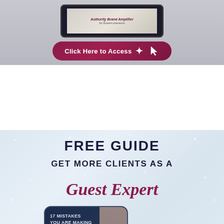[Figure (screenshot): Top section showing a tablet device with an Authority Brand Amplifier for Expert-preneurs screen, and a dark red 'Click Here to Access' button with cursor icon, on a gray background]
[Figure (infographic): Free Guide promotional graphic on light blue sparkly background with text: FREE GUIDE, GET MORE CLIENTS AS A, Guest Expert, and a book cover showing '17 Mistakes You Are Making As A Guest Expert That's Costing You Leads and Clients!' with social sharing buttons for Facebook, Twitter, LinkedIn, Pinterest at bottom, and Melissa Brooke branding]